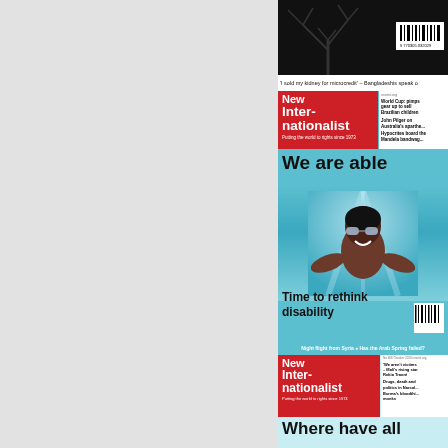[Figure (photo): Scanned page showing two New Internationalist magazine covers side by side on a grey background. Left portion is blank grey. Right column shows: top cover with swimmer underwater, headline 'We are able', subtext 'Time to rethink disability'. Bottom partial cover with headline 'Where have all' visible.]